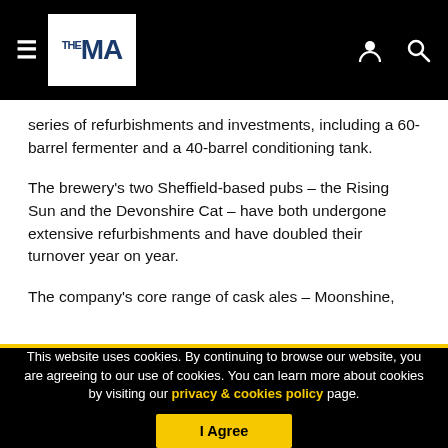THE MA
series of refurbishments and investments, including a 60-barrel fermenter and a 40-barrel conditioning tank.
The brewery’s two Sheffield-based pubs – the Rising Sun and the Devonshire Cat – have both undergone extensive refurbishments and have doubled their turnover year on year.
The company’s core range of cask ales – Moonshine,
This website uses cookies. By continuing to browse our website, you are agreeing to our use of cookies. You can learn more about cookies by visiting our privacy & cookies policy page.
I Agree